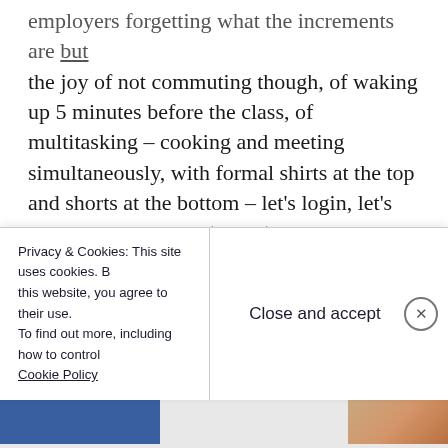employers forgetting what the increments are but the joy of not commuting though, of waking up 5 minutes before the class, of multitasking – cooking and meeting simultaneously, with formal shirts at the top and shorts at the bottom – let's login, let's keep our camera on (or not), am I audible (or not), is my screen visible (or not), is my Wi-Fi working (or not). Is it still March 2020? Or not. Has the time really passed? Or not. How the fuck did China contain this virus? Or not. Where's my office? Where's my home? What's
Privacy & Cookies: This site uses cookies. By continuing to use this website, you agree to their use. To find out more, including how to control cookies, see here: Cookie Policy
Close and accept